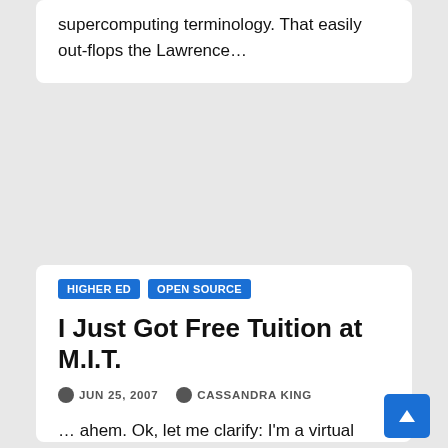supercomputing terminology. That easily out-flops the Lawrence…
HIGHER ED  OPEN SOURCE
I Just Got Free Tuition at M.I.T.
JUN 25, 2007  CASSANDRA KING
… ahem. Ok, let me clarify: I'm a virtual student over at ocw.mit.edu. The OpenCourseWare site at M.I.T. gives me access to over 4,000 free online courses. For some reason,…